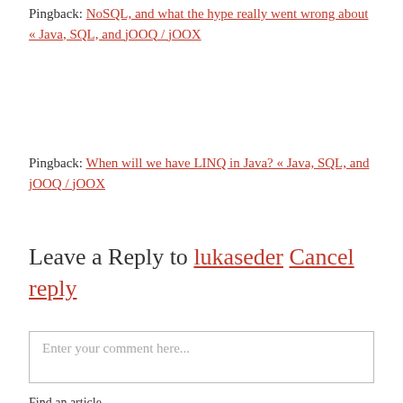Pingback: NoSQL, and what the hype really went wrong about « Java, SQL, and jOOQ / jOOX
Pingback: When will we have LINQ in Java? « Java, SQL, and jOOQ / jOOX
Leave a Reply to lukaseder Cancel reply
Enter your comment here...
Find an article